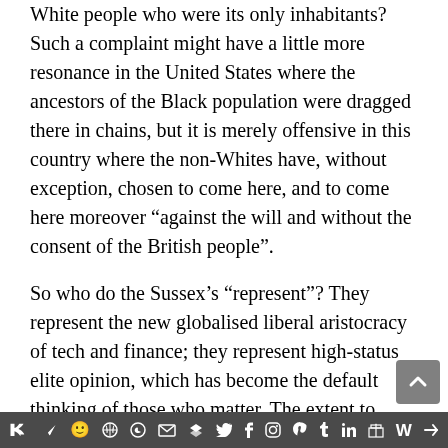White people who were its only inhabitants? Such a complaint might have a little more resonance in the United States where the ancestors of the Black population were dragged there in chains, but it is merely offensive in this country where the non-Whites have, without exception, chosen to come here, and to come here moreover “against the will and without the consent of the British people”.

So who do the Sussex’s “represent”? They represent the new globalised liberal aristocracy of tech and finance; they represent high-status elite opinion, which has become the default thinking of those who matter. The extent to
[social share icons bar]